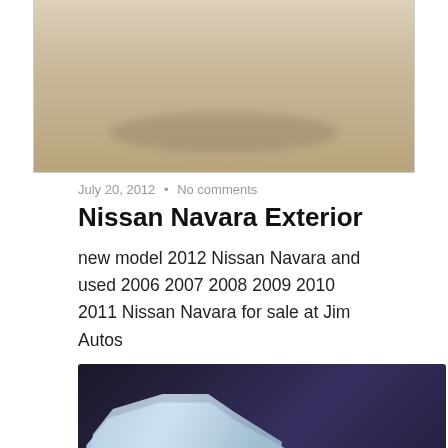[Figure (photo): Partial view of a car (likely Nissan Navara) on a concrete surface, cropped at the top]
July 20, 2012  •  No comments
Nissan Navara Exterior
new model 2012 Nissan Navara and used 2006 2007 2008 2009 2010 2011 Nissan Navara for sale at Jim Autos
[Figure (photo): Nissan Navara pickup truck (silver/blue) with UTE OF THE YEAR 2006 and 4X4 UTE OF THE YEAR 2007 award badges on dark background]
July 20, 2012  •  No comments